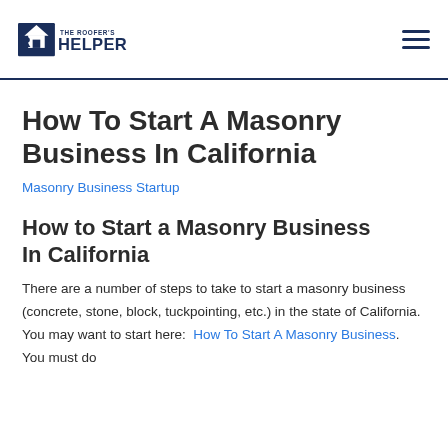[Figure (logo): The Roofer's Helper logo with house/roof icon and bold text]
How To Start A Masonry Business In California
Masonry Business Startup
How to Start a Masonry Business In California
There are a number of steps to take to start a masonry business (concrete, stone, block, tuckpointing, etc.) in the state of California.  You may want to start here:  How To Start A Masonry Business.  You must do